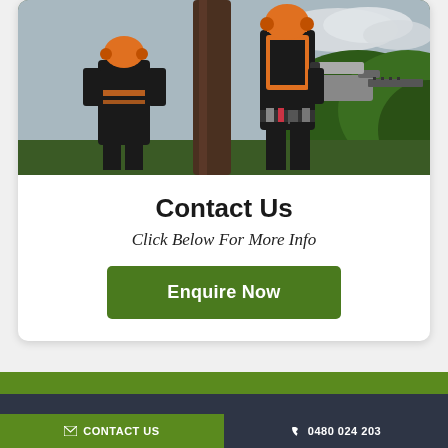[Figure (photo): Two arborists/tree surgeons in protective gear (black and orange) near a large tree trunk, one holding a chainsaw, with green forested hills in the background]
Contact Us
Click Below For More Info
Enquire Now
Make An Enquiry
Request A Quote
CONTACT US | 0480 024 203